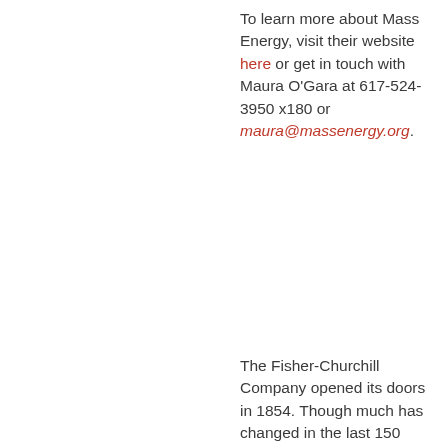To learn more about Mass Energy, visit their website here or get in touch with Maura O'Gara at 617-524-3950 x180 or maura@massenergy.org.
The Fisher-Churchill Company opened its doors in 1854. Though much has changed in the last 150 years, the company remains family owned and operated and strives to provide the best possible customer service
[Figure (logo): Fisher-Churchill logo with large blue F and C arc, company name in blue uppercase, tagline 'Gas • Air Conditioning • Oil' in green]